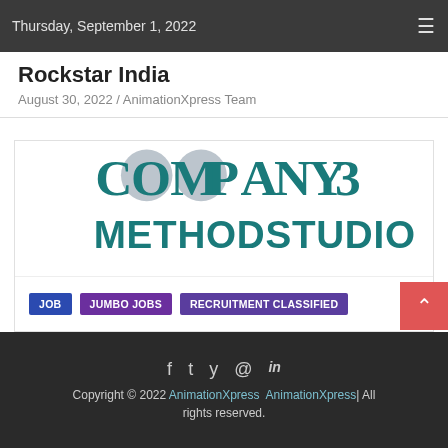Thursday, September 1, 2022
Rockstar India
August 30, 2022 / AnimationXpress Team
[Figure (logo): Company3 Method Studios logo — teal bold serif text 'COMPANY3' on top line with grey circle overlapping the O letters, and 'METHOD STUDIOS' in teal bold condensed sans-serif below]
JOB  JUMBO JOBS  RECRUITMENT CLASSIFIED
Copyright © 2022 AnimationXpress  AnimationXpress| All rights reserved.